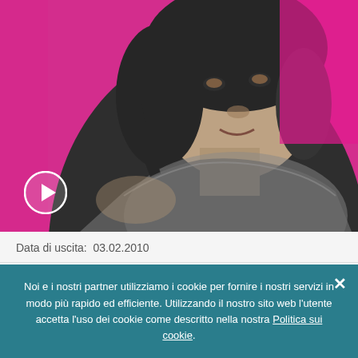[Figure (photo): Black and white photo of a woman with short dark hair against a bright pink/magenta background. A circular play button icon is overlaid in the bottom-left corner of the image.]
Data di uscita:  03.02.2010
Case discografiche:  Uni/Motown
Noi e i nostri partner utilizziamo i cookie per fornire i nostri servizi in modo più rapido ed efficiente. Utilizzando il nostro sito web l'utente accetta l'uso dei cookie come descritto nella nostra Politica sui cookie.